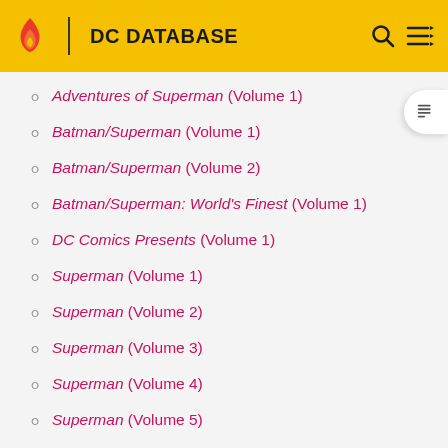DC DATABASE
Adventures of Superman (Volume 1)
Batman/Superman (Volume 1)
Batman/Superman (Volume 2)
Batman/Superman: World's Finest (Volume 1)
DC Comics Presents (Volume 1)
Superman (Volume 1)
Superman (Volume 2)
Superman (Volume 3)
Superman (Volume 4)
Superman (Volume 5)
Superman/Batman (Volume 1)
Superman Confidential (Volume 1)
Superman: Son of Kal-El (Volume 1)
Superman: The Man of Steel (Volume 1)